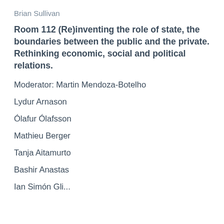Brian Sullivan
Room 112 (Re)inventing the role of state, the boundaries between the public and the private. Rethinking economic, social and political relations.
Moderator: Martin Mendoza-Botelho
Lydur Arnason
Ólafur Ólafsson
Mathieu Berger
Tanja Aitamurto
Bashir Anastas
Ian Simón Gli...